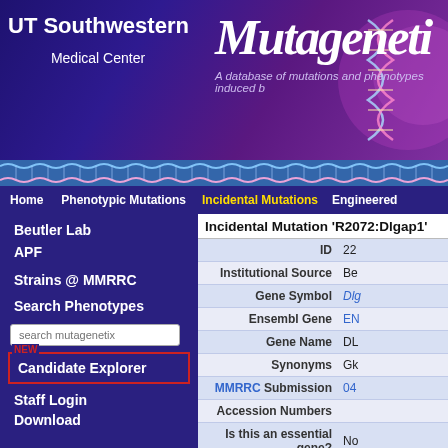[Figure (screenshot): UT Southwestern Medical Center logo and Mutagenetix banner header with DNA helix graphic]
UT Southwestern Medical Center | Mutagenetix | A database of mutations and phenotypes induced b...
Home  Phenotypic Mutations  Incidental Mutations  Engineered...
Beutler Lab
APF
Strains @ MMRRC
Search Phenotypes
search mutagenetix
Candidate Explorer
Staff Login
Download
Incidental Mutation 'R2072:Dlgap1'
| Field | Value |
| --- | --- |
| ID | 22 |
| Institutional Source | Be... |
| Gene Symbol | Dlg... |
| Ensembl Gene | EN... |
| Gene Name | DL... |
| Synonyms | Gk... |
| MMRRC Submission | 04... |
| Accession Numbers |  |
| Is this an essential gene? | No... |
| Stock # | R2... |